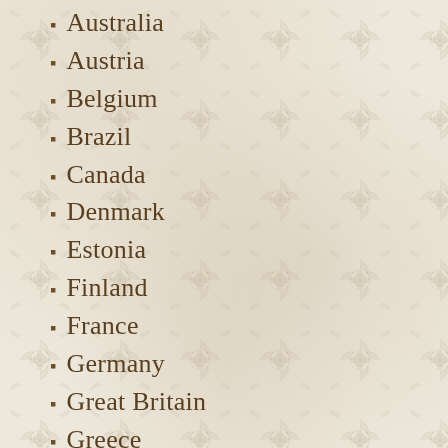Australia
Austria
Belgium
Brazil
Canada
Denmark
Estonia
Finland
France
Germany
Great Britain
Greece
Hungary
India
Italy